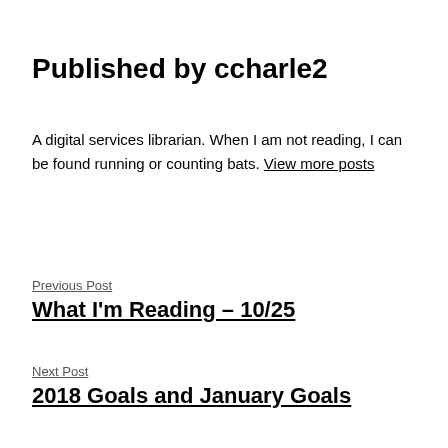Published by ccharle2
A digital services librarian. When I am not reading, I can be found running or counting bats. View more posts
Previous Post
What I'm Reading – 10/25
Next Post
2018 Goals and January Goals